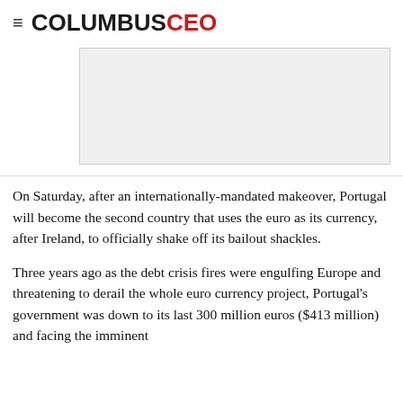COLUMBUS CEO
[Figure (other): Advertisement placeholder box, light gray background with border]
On Saturday, after an internationally-mandated makeover, Portugal will become the second country that uses the euro as its currency, after Ireland, to officially shake off its bailout shackles.
Three years ago as the debt crisis fires were engulfing Europe and threatening to derail the whole euro currency project, Portugal's government was down to its last 300 million euros ($413 million) and facing the imminent